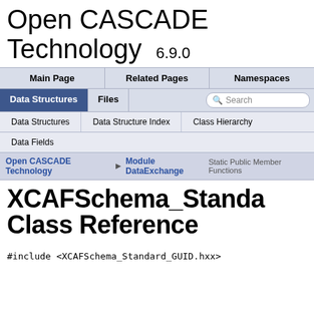Open CASCADE Technology 6.9.0
Main Page | Related Pages | Namespaces
Data Structures | Files | Search
Data Structures | Data Structure Index | Class Hierarchy
Data Fields
Open CASCADE Technology > Module DataExchange
Static Public Member Functions
XCAFSchema_Standard_Class Reference
#include <XCAFSchema_Standard_GUID.hxx>